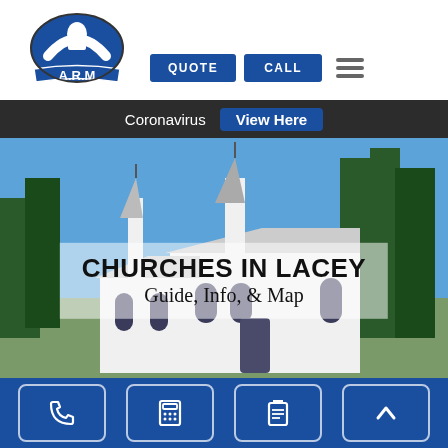[Figure (logo): A.R.M. logo with blue circular emblem showing a fist holding a flag, with banner text A.R.M.]
[Figure (screenshot): Navigation buttons: QUOTE (blue), CALL (blue), and hamburger menu icon]
Coronavirus  View Here
[Figure (photo): Photo of a white church with steeple and tall trees in background under blue sky, with overlay text 'CHURCHES IN LACEY Guide, Info, & Map']
CHURCHES IN LACEY
Guide, Info, & Map
[Figure (infographic): Bottom navigation bar with four icon buttons: phone, calculator, clipboard/list, and up arrow (chevron)]